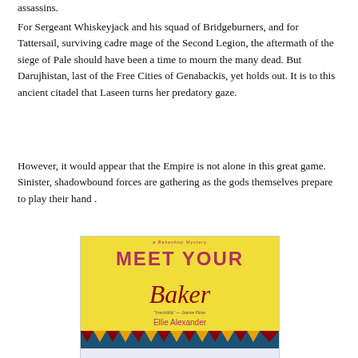assassins.
For Sergeant Whiskeyjack and his squad of Bridgeburners, and for Tattersail, surviving cadre mage of the Second Legion, the aftermath of the siege of Pale should have been a time to mourn the many dead. But Darujhistan, last of the Free Cities of Genabackis, yet holds out. It is to this ancient citadel that Laseen turns her predatory gaze.
However, it would appear that the Empire is not alone in this great game. Sinister, shadowbound forces are gathering as the gods themselves prepare to play their hand .
[Figure (photo): Book cover of 'Meet Your Baker' by Ellie Alexander — a Bakeshop Mystery. Yellow background with red/pink title text, bakery storefront scene at bottom with cakes, pastries, and eggs.]